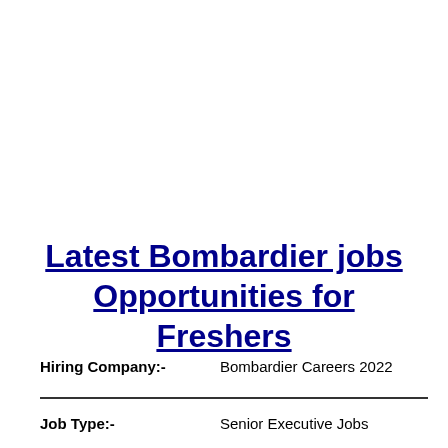Latest Bombardier jobs Opportunities for Freshers
Hiring Company:-    Bombardier Careers 2022
Job Type:-    Senior Executive Jobs